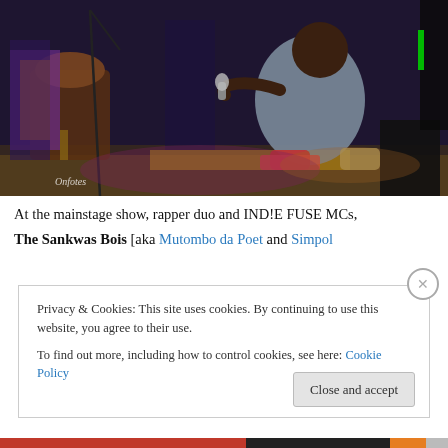[Figure (photo): A rapper crouching on stage holding a microphone, performing at a mainstage show. Stage lighting illuminates the scene, with African drums and other performers visible in the background. A watermark reading 'Onfotes' is visible in the lower left corner.]
At the mainstage show, rapper duo and IND!E FUSE MCs, The Sankwas Bois [aka Mutombo da Poet and Simpol
Privacy & Cookies: This site uses cookies. By continuing to use this website, you agree to their use.
To find out more, including how to control cookies, see here: Cookie Policy
Close and accept